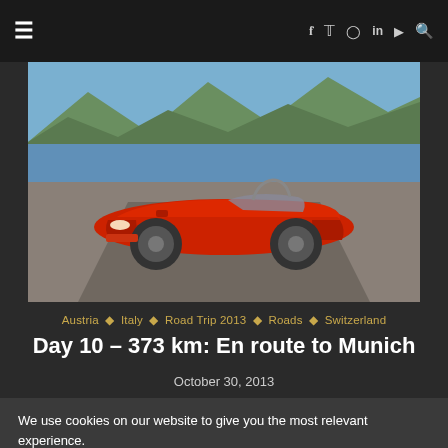≡  f  𝕏  ◎  in  ▶  🔍
[Figure (photo): Red BMW Z4 convertible roadster parked on a gravel road with alpine lake and mountains in the background]
Austria ◇ Italy ◇ Road Trip 2013 ◇ Roads ◇ Switzerland
Day 10 – 373 km: En route to Munich
October 30, 2013
We use cookies on our website to give you the most relevant experience.
Cookie Settings   Accept All